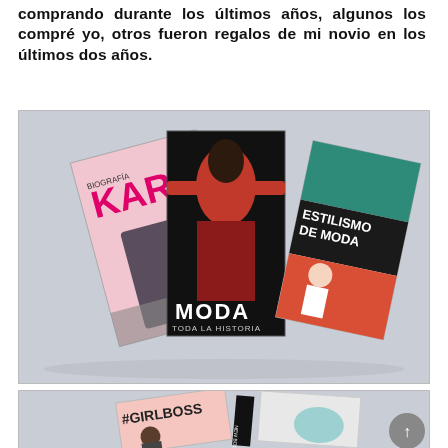comprando durante los últimos años, algunos los compré yo, otros fueron regalos de mi novio en los últimos dos años.
[Figure (photo): Three fashion books fanned out on a light grey background: a Karl Lagerfeld book on the left (pink and black cover), a central book titled 'MODA TODA LA HISTORIA' with a dramatic fashion figure on the cover, and on the right 'ESTILISMO DE MODA' with a black and teal cover.]
[Figure (photo): Partial view of books on a grey background, including '#GIRLBOSS' book with a woman on the cover (light pink), and another book partially visible. A circular grey scroll-to-top button appears in the bottom right corner.]